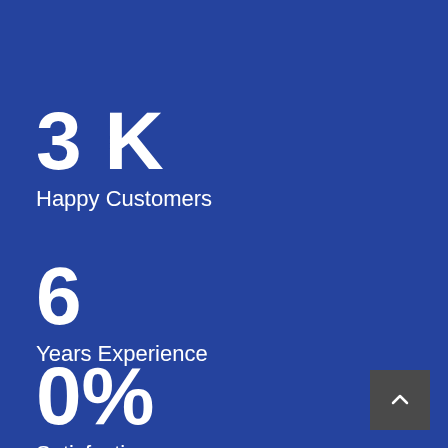3K
Happy Customers
6
Years Experience
0%
Satisfaction